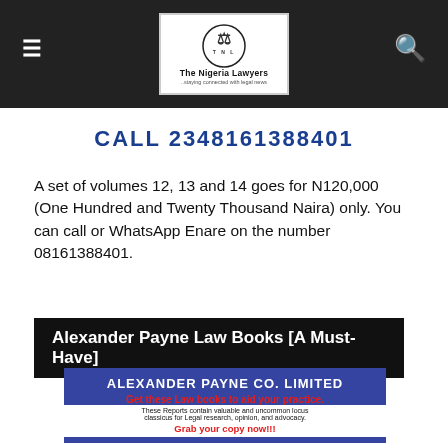The Nigeria Lawyers
CALL 2348161388401
A set of volumes 12, 13 and 14 goes for N120,000 (One Hundred and Twenty Thousand Naira) only. You can call or WhatsApp Enare on the number 08161388401.
Alexander Payne Law Books [A Must-Have]
[Figure (illustration): Alexander Payne Co. Limited advertisement for law books. Blue banner heading, red subheading 'Get these Law books to aid your practice.', smaller black text about locus classicus for legal research, red text 'Grab your copy now!!!' and images of law books at the bottom.]